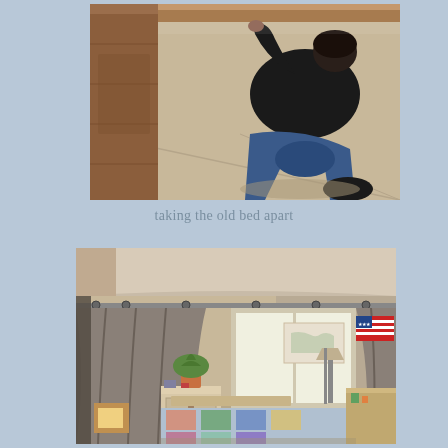[Figure (photo): Person kneeling on the floor next to a wooden bed frame, taking it apart. The carpet floor is visible and the wooden headboard/side rail is prominent in the foreground.]
taking the old bed apart
[Figure (photo): Bedroom interior with brown/grey curtains on a curtain rod over a bright window. A bed with a colorful quilt is visible in the lower right, a nightstand with a plant, a world map on the wall, an American flag, and various room items.]